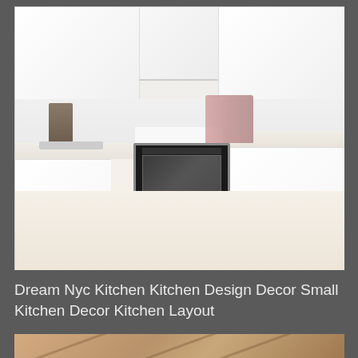[Figure (photo): Modern white U-shaped kitchen with glossy white cabinets (upper and lower), light beige countertops, built-in oven in the center, light tile floor, sink on the left side, decorative plant and bottles visible, minimalist design.]
Dream Nyc Kitchen Kitchen Design Decor Small Kitchen Decor Kitchen Layout
[Figure (photo): Partial view of a second image showing what appears to be wooden elements, possibly furniture or flooring with warm wood tones.]